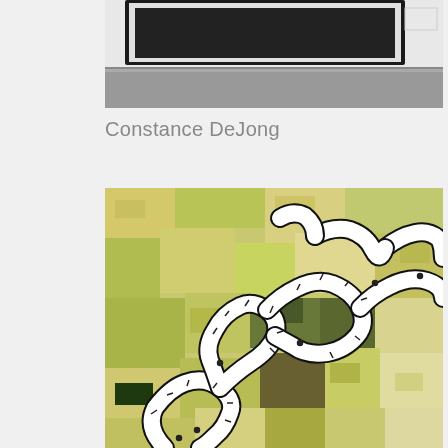[Figure (photo): Top portion of an artwork installation showing a dark framed piece against a light wall with floor visible, partially cropped at top]
Constance DeJong
[Figure (photo): Art installation or artwork showing an aerial/top-down view of a winding white glowing river or road path snaking across a colorful patchwork of green, yellow, and tan rectangular fields, viewed from an angle on a gallery floor]